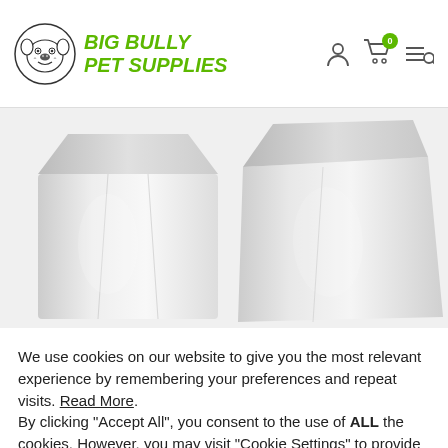BIG BULLY PET SUPPLIES
[Figure (photo): Two clear/silver plastic pet food bags side by side on white/light grey background, showing front and slightly angled views of flat-bottom packaging]
We use cookies on our website to give you the most relevant experience by remembering your preferences and repeat visits. Read More. By clicking “Accept All”, you consent to the use of ALL the cookies. However, you may visit “Cookie Settings” to provide a controlled consent.